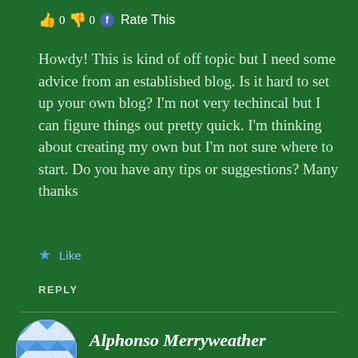👍 0 👎 0 🔵 Rate This
Howdy! This is kind of off topic but I need some advice from an established blog. Is it hard to set up your own blog? I'm not very techincal but I can figure things out pretty quick. I'm thinking about creating my own but I'm not sure where to start. Do you have any tips or suggestions? Many thanks
★ Like
REPLY
Alphonso Merryweather